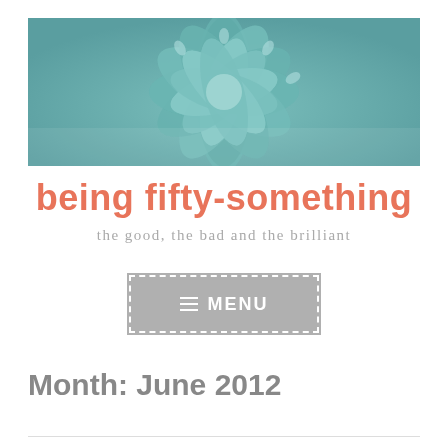[Figure (photo): Close-up photograph of a succulent plant with teal-green pointed leaves arranged in a rosette pattern, serving as a blog header image]
being fifty-something
the good, the bad and the brilliant
≡ MENU
Month: June 2012